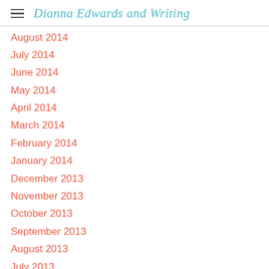Dianna Edwards and Writing
August 2014
July 2014
June 2014
May 2014
April 2014
March 2014
February 2014
January 2014
December 2013
November 2013
October 2013
September 2013
August 2013
July 2013
June 2013
May 2013
April 2013